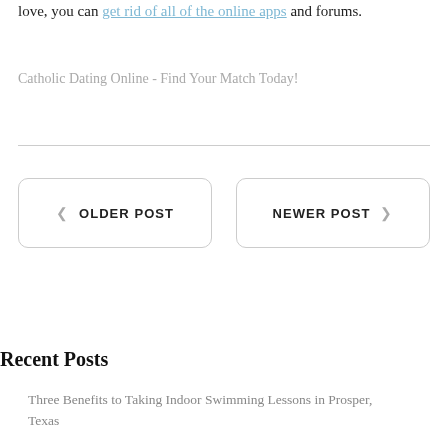love, you can get rid of all of the online apps and forums.
Catholic Dating Online - Find Your Match Today!
OLDER POST
NEWER POST
Recent Posts
Three Benefits to Taking Indoor Swimming Lessons in Prosper, Texas